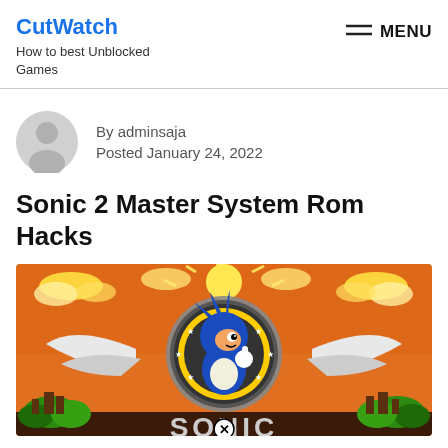CutWatch
How to best Unblocked Games
MENU
By adminsaja
Posted January 24, 2022
Sonic 2 Master System Rom Hacks
[Figure (illustration): Sonic the Hedgehog character artwork on an orange background with sunburst effects, showing Sonic in his classic pose with a circular logo behind him, trees and landscape at the bottom, and partial 'SONIC' text at the bottom]